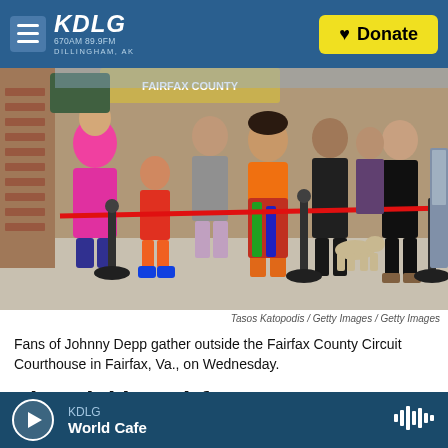KDLG 670AM 89.9FM Dillingham, AK | Donate
[Figure (photo): Crowd of fans gathered outside the Fairfax County Circuit Courthouse, standing behind a red stanchion rope barrier.]
Tasos Katopodis / Getty Images / Getty Images
Fans of Johnny Depp gather outside the Fairfax County Circuit Courthouse in Fairfax, Va., on Wednesday.
The trial in Fairfax County, Va., has publicly aired
KDLG | World Cafe